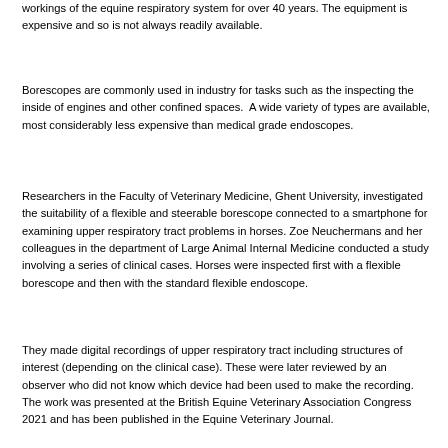workings of the equine respiratory system for over 40 years. The equipment is expensive and so is not always readily available.
Borescopes are commonly used in industry for tasks such as the inspecting the inside of engines and other confined spaces.  A wide variety of types are available, most considerably less expensive than medical grade endoscopes.
Researchers in the Faculty of Veterinary Medicine, Ghent University, investigated the suitability of a flexible and steerable borescope connected to a smartphone for examining upper respiratory tract problems in horses. Zoe Neuchermans and her colleagues in the department of Large Animal Internal Medicine conducted a study involving a series of clinical cases. Horses were inspected first with a flexible borescope and then with the standard flexible endoscope.
They made digital recordings of upper respiratory tract including structures of interest (depending on the clinical case). These were later reviewed by an observer who did not know which device had been used to make the recording. The work was presented at the British Equine Veterinary Association Congress 2021 and has been published in the Equine Veterinary Journal.